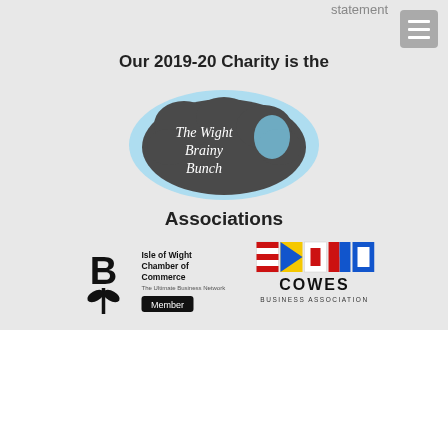statement
Our 2019-20 Charity is the
[Figure (logo): The Wight Brainy Bunch logo - dark grey brain cloud shape with light blue glow, white italic text reading 'The Wight Brainy Bunch']
Associations
[Figure (logo): Isle of Wight Chamber of Commerce Member logo - black stylized plant/flower and B letter mark with text 'Isle of Wight Chamber of Commerce' and 'Member' badge]
[Figure (logo): Cowes Business Association logo - row of nautical signal flags (red/white striped, yellow/blue triangle, red square, red/blue square, blue/white square) above text 'COWES BUSINESS ASSOCIATION']
This website uses cookies to improve your experience. We'll assume you're ok with this, but you can opt-out if you wish
Read More. Cookie settings ACCEPT